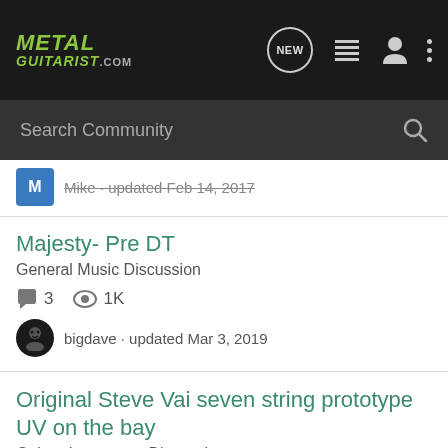METAL GUITARIST .com
Search Community
Mike · updated Feb 14, 2017
Majesty- Pre DT
General Music Discussion
3  1K
bigdave · updated Mar 3, 2019
Original Steve Vai seven string prototype UV on the bay
Guitar: Instrument Discussion
17  5K
1 · updated Jul 17, 2011